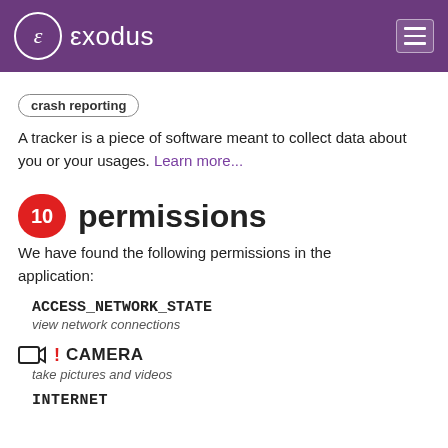exodus
crash reporting
A tracker is a piece of software meant to collect data about you or your usages. Learn more...
10 permissions
We have found the following permissions in the application:
ACCESS_NETWORK_STATE
view network connections
CAMERA
take pictures and videos
INTERNET